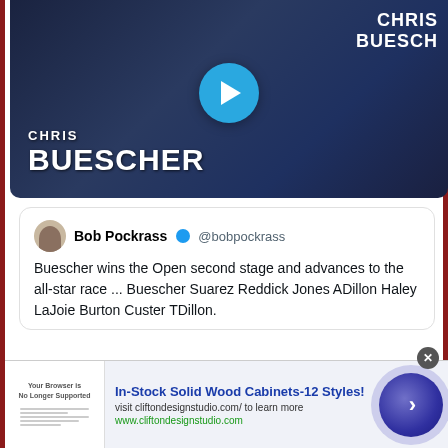[Figure (photo): Video thumbnail showing Chris Buescher in racing suit with name overlay and play button]
Bob Pockrass @bobpockrass
Buescher wins the Open second stage and advances to the all-star race ... Buescher Suarez Reddick Jones ADillon Haley LaJoie Burton Custer TDillon.
10:07 PM · May 22, 2022
69  Reply  Copy link
[Figure (screenshot): Advertisement: In-Stock Solid Wood Cabinets-12 Styles! visit cliftondesignstudio.com/ to learn more www.cliftondesignstudio.com]